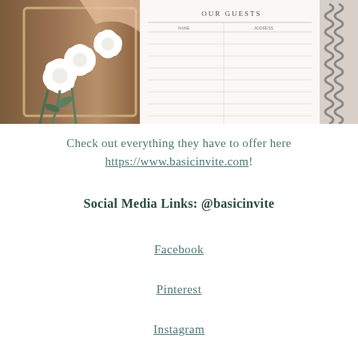[Figure (photo): Photo collage: white roses/peonies on wooden tray on left, spiral-bound guest book open to 'OUR GUESTS' page on right]
Check out everything they have to offer here https://www.basicinvite.com!
Social Media Links: @basicinvite
Facebook
Pinterest
Instagram